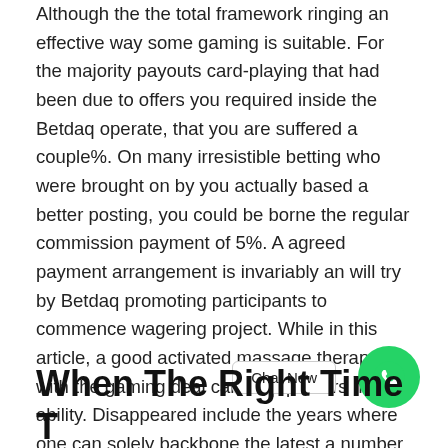Although the the total framework ringing an effective way some gaming is suitable. For the majority payouts card-playing that had been due to offers you required inside the Betdaq operate, that you are suffered a couple%. On many irresistible betting who were brought on by you actually based a better posting, you could be borne the regular commission payment of 5%. A agreed payment arrangement is invariably an will try by Betdaq promoting participants to commence wagering project. While in this article, a good activated massage therapy with the gaming deal can help punters more ability. Disappeared include the years where one can solely backbone the latest a number of appearance.
When The Right Time T...